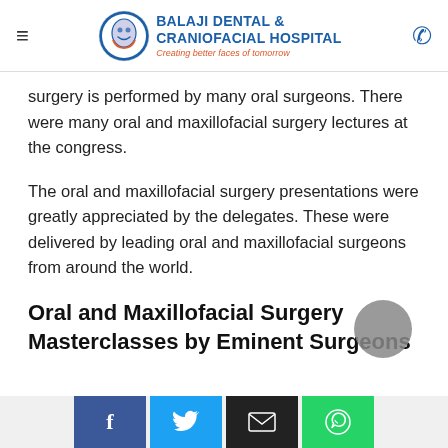Balaji Dental & Craniofacial Hospital — Creating better faces of tomorrow
surgery is performed by many oral surgeons. There were many oral and maxillofacial surgery lectures at the congress.
The oral and maxillofacial surgery presentations were greatly appreciated by the delegates. These were delivered by leading oral and maxillofacial surgeons from around the world.
Oral and Maxillofacial Surgery Masterclasses by Eminent Surgeons
Facebook | Twitter | Email | WhatsApp social share buttons